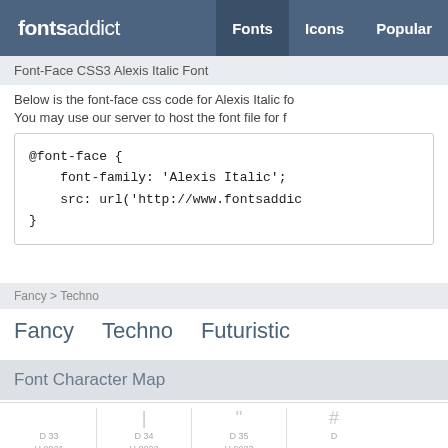fontsaddict  Fonts  Icons  Popular
Font-Face CSS3 Alexis Italic Font
Below is the font-face css code for Alexis Italic fo
You may use our server to host the font file for f
Fancy > Techno
Fancy   Techno   Futuristic
Font Character Map
D 33 H 0021   D 34 H 0022   D 35 H 0023   D